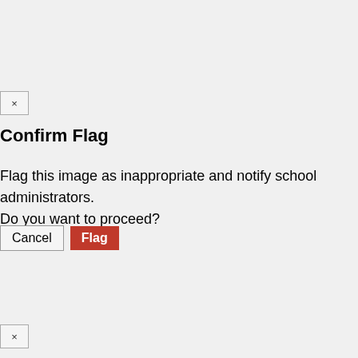[Figure (screenshot): Close button (×) top left, small box with × symbol]
Confirm Flag
Flag this image as inappropriate and notify school administrators.
Do you want to proceed?
[Figure (screenshot): Cancel button and red Flag button]
[Figure (screenshot): Close button (×) bottom left, small box with × symbol]